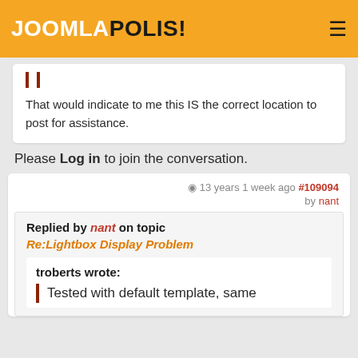JOOMLAPOLIS!
That would indicate to me this IS the correct location to post for assistance.
Please Log in to join the conversation.
13 years 1 week ago #109094 by nant
Replied by nant on topic Re:Lightbox Display Problem
troberts wrote:
Tested with default template, same